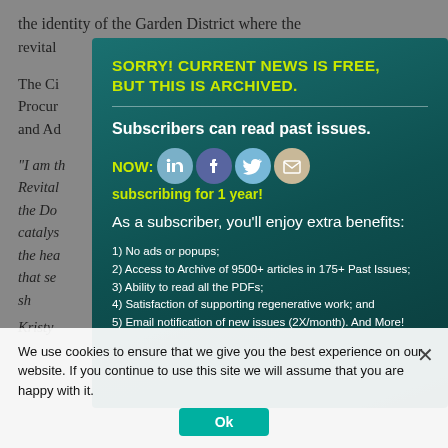the identity of the Garden District where the revital...
The Ci... Procur... ner and Ad...
"I am th... reet Revital... ent of the Do... be the catalys... r all in the hea... sed that se... e men's sh... liti...
Kristy ...
[Figure (screenshot): Modal popup overlay on a news article page. Contains: 'SORRY! CURRENT NEWS IS FREE, BUT THIS IS ARCHIVED.' headline in yellow-green, a divider, bold white text 'Subscribers can read past issues.', social share icons (LinkedIn, Facebook, Twitter, Email), yellow-green text 'NOW: subscribing for 1 year!', white text 'As a subscriber, you’ll enjoy extra benefits:', and a list of 5 benefits including no ads, archive access, PDF ability, satisfaction guarantee, and email notifications.]
We use cookies to ensure that we give you the best experience on our website. If you continue to use this site we will assume that you are happy with it.